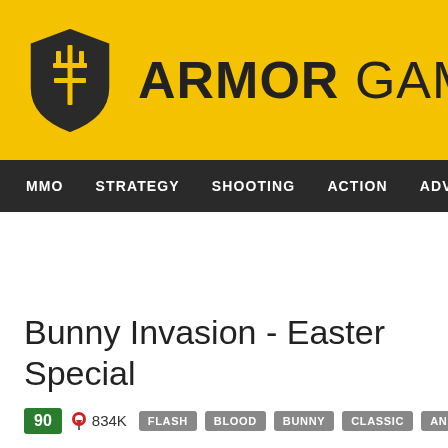[Figure (logo): Armor Games logo with shield icon and bold text]
MMO  STRATEGY  SHOOTING  ACTION  ADVENTURE  P
Bunny Invasion - Easter Special
90  834K  FLASH  BLOOD  BUNNY  CLASSIC  ANIMAL